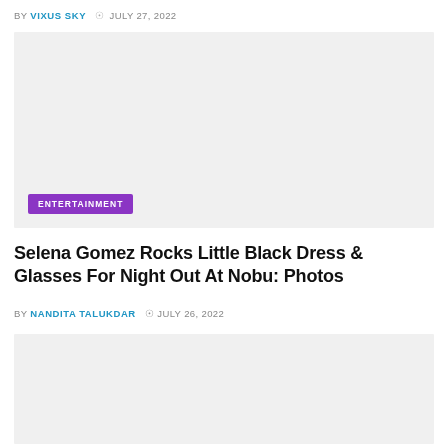BY VIXUS SKY  © JULY 27, 2022
[Figure (photo): Top article image placeholder, light gray background]
ENTERTAINMENT
Selena Gomez Rocks Little Black Dress & Glasses For Night Out At Nobu: Photos
BY NANDITA TALUKDAR  © JULY 26, 2022
[Figure (photo): Bottom article image placeholder, light gray background]